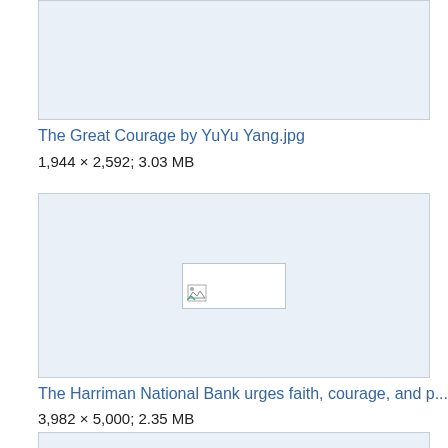[Figure (other): Image placeholder box (top, partially cropped)]
The Great Courage by YuYu Yang.jpg
1,944 × 2,592; 3.03 MB
[Figure (other): Image placeholder box with broken image icon in center]
The Harriman National Bank urges faith, courage, and p...
3,982 × 5,000; 2.35 MB
[Figure (other): Image placeholder box (bottom, partially cropped) with broken image icon]